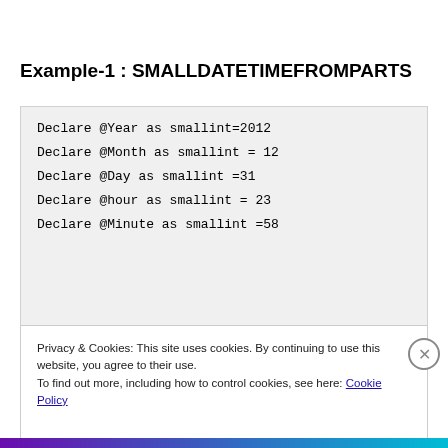Example-1 : SMALLDATETIMEFROMPARTS
Privacy & Cookies: This site uses cookies. By continuing to use this website, you agree to their use.
To find out more, including how to control cookies, see here: Cookie Policy